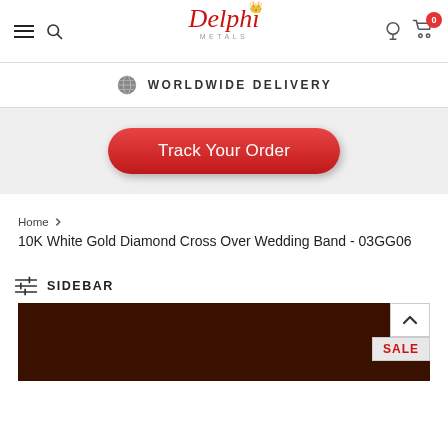Delphi Metals navigation bar with hamburger menu, search, logo, account, and cart (0 items)
WORLDWIDE DELIVERY
Track Your Order
Home > 10K White Gold Diamond Cross Over Wedding Band - 03GG06
SIDEBAR
[Figure (photo): Dark brown product image background with SALE badge in lower right corner and back-to-top arrow button]